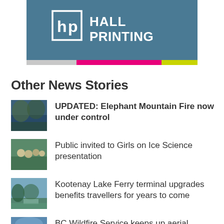[Figure (logo): Hall Printing logo on teal/blue background with hp icon and colorful stripe bar]
Other News Stories
UPDATED: Elephant Mountain Fire now under control
Public invited to Girls on Ice Science presentation
Kootenay Lake Ferry terminal upgrades benefits travellers for years to come
BC Wildfire Service keeps up aerial